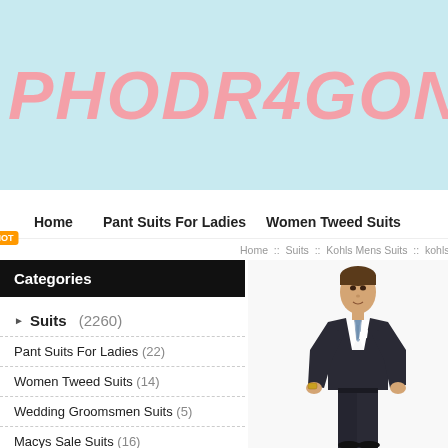PHODRAGON
Home   Pant Suits For Ladies   Women Tweed Suits
Home :: Suits :: Kohls Mens Suits :: kohls
Categories
Suits (2260)
Pant Suits For Ladies (22)
Women Tweed Suits (14)
Wedding Groomsmen Suits (5)
Macys Sale Suits (16)
Jcpenney Mens Suits (22)
Jcpenney Womens Suits (15)
Womens Tailored Suits (19)
[Figure (photo): Man in dark suit with light blue tie, standing pose]